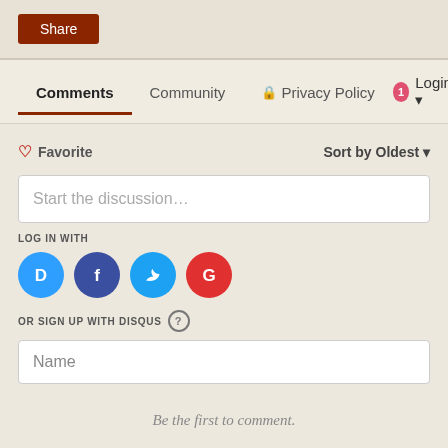[Figure (screenshot): Share button — dark red rectangle with white 'Share' text]
Comments | Community | Privacy Policy | Login
Favorite | Sort by Oldest
Start the discussion…
LOG IN WITH
[Figure (logo): Social login icons: Disqus (D), Facebook (f), Twitter bird, Google (G)]
OR SIGN UP WITH DISQUS ?
Name
Be the first to comment.